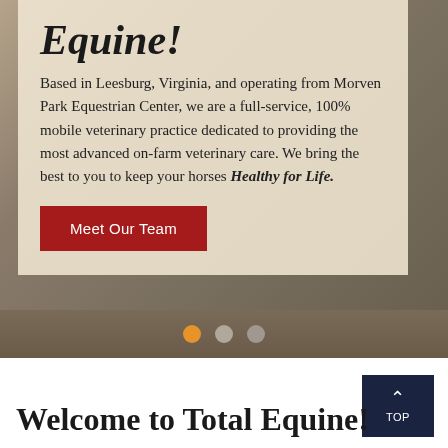Equine!
Based in Leesburg, Virginia, and operating from Morven Park Equestrian Center, we are a full-service, 100% mobile veterinary practice dedicated to providing the most advanced on-farm veterinary care. We bring the best to you to keep your horses Healthy for Life.
[Figure (infographic): Red 'Meet Our Team' button on a beige card overlay over blurred equestrian background]
[Figure (infographic): Carousel navigation dots: one orange dot (active), two gray dots]
[Figure (infographic): Dark navy 'TOP' back-to-top button with upward chevron arrow]
Welcome to Total Equine!